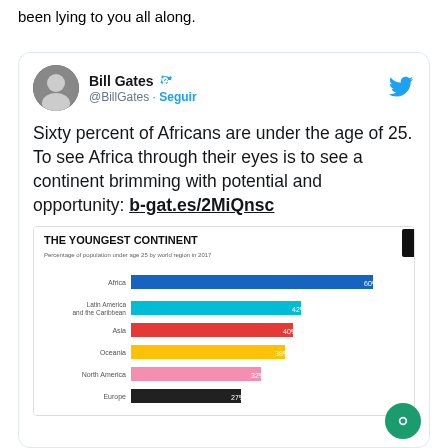been lying to you all along.
[Figure (screenshot): Tweet from Bill Gates (@BillGates) with verified badge and Seguir (Follow) button. Tweet text: 'Sixty percent of Africans are under the age of 25. To see Africa through their eyes is to see a continent brimming with potential and opportunity: b-gat.es/2MiQnsc'. Embedded chart titled 'THE YOUNGEST CONTINENT - Percentage of population under age 25 by world region in 2017' showing horizontal bar chart with bars for Africa (60%), Latin America and the Caribbean (42%), Asia (40%), Oceania (38%), North America (32%), Europe (27%).]
[Figure (bar-chart): THE YOUNGEST CONTINENT]